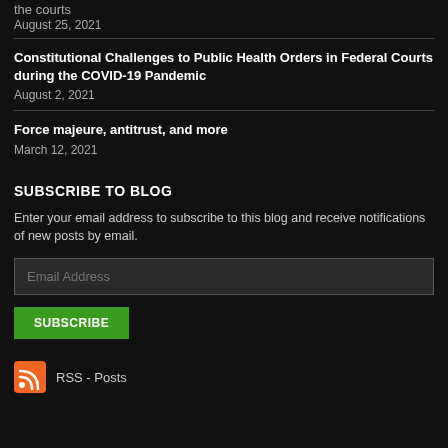the courts
August 25, 2021
Constitutional Challenges to Public Health Orders in Federal Courts during the COVID-19 Pandemic
August 2, 2021
Force majeure, antitrust, and more
March 12, 2021
SUBSCRIBE TO BLOG
Enter your email address to subscribe to this blog and receive notifications of new posts by email.
Email Address
SUBSCRIBE
RSS - Posts